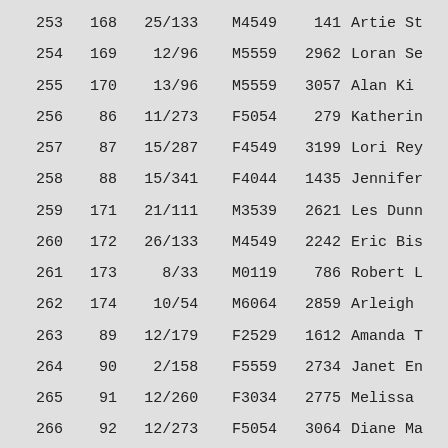| Rank | Gen Rank | Place | Cat | Bib | Name |
| --- | --- | --- | --- | --- | --- |
| 253 | 168 | 25/133 | M4549 | 141 | Artie St |
| 254 | 169 | 12/96 | M5559 | 2962 | Loran Se |
| 255 | 170 | 13/96 | M5559 | 3057 | Alan Ki |
| 256 | 86 | 11/273 | F5054 | 279 | Katherin |
| 257 | 87 | 15/287 | F4549 | 3199 | Lori Rey |
| 258 | 88 | 15/341 | F4044 | 1435 | Jennifer |
| 259 | 171 | 21/111 | M3539 | 2621 | Les Dunn |
| 260 | 172 | 26/133 | M4549 | 2242 | Eric Bis |
| 261 | 173 | 8/33 | M0119 | 786 | Robert L |
| 262 | 174 | 10/54 | M6064 | 2859 | Arleigh |
| 263 | 89 | 12/179 | F2529 | 1612 | Amanda T |
| 264 | 90 | 2/158 | F5559 | 2734 | Janet En |
| 265 | 91 | 12/260 | F3034 | 2775 | Melissa |
| 266 | 92 | 12/273 | F5054 | 3064 | Diane Ma |
| 267 | 93 | 16/316 | F3539 | 2093 | Kaye Wet |
| 268 | 175 | 27/133 | M4549 | 1894 | Sean Cu |